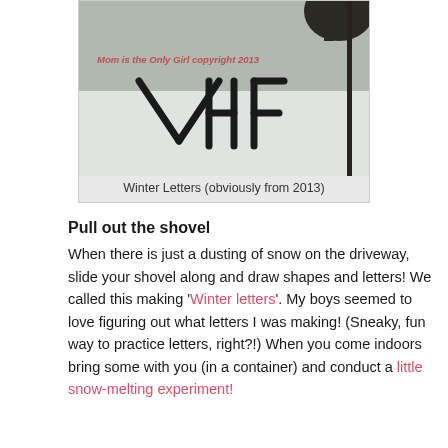[Figure (photo): A snow-covered driveway with letters/shapes drawn in the snow using a shovel, with a copyright watermark reading 'Mom is the Only Girl copyright 2013']
Winter Letters (obviously from 2013)
Pull out the shovel
When there is just a dusting of snow on the driveway, slide your shovel along and draw shapes and letters! We called this making 'Winter letters'. My boys seemed to love figuring out what letters I was making! (Sneaky, fun way to practice letters, right?!) When you come indoors bring some with you (in a container) and conduct a little snow-melting experiment!